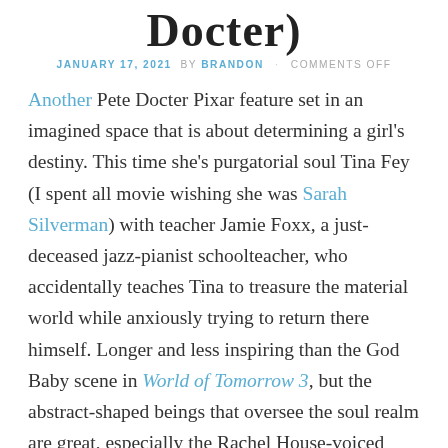Docter)
JANUARY 17, 2021 BY BRANDON · COMMENTS OFF
Another Pete Docter Pixar feature set in an imagined space that is about determining a girl's destiny. This time she's purgatorial soul Tina Fey (I spent all movie wishing she was Sarah Silverman) with teacher Jamie Foxx, a just-deceased jazz-pianist schoolteacher, who accidentally teaches Tina to treasure the material world while anxiously trying to return there himself. Longer and less inspiring than the God Baby scene in World of Tomorrow 3, but the abstract-shaped beings that oversee the soul realm are great, especially the Rachel House-voiced accountant who follows our heroes to earth and hides in 2D images within the 3D world.